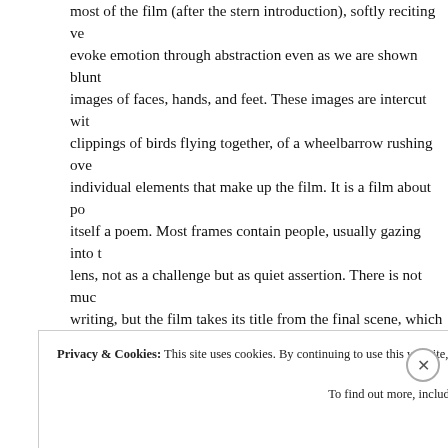most of the film (after the stern introduction), softly reciting ve evoke emotion through abstraction even as we are shown blunt images of faces, hands, and feet. These images are intercut with clippings of birds flying together, of a wheelbarrow rushing ove individual elements that make up the film. It is a film about po itself a poem. Most frames contain people, usually gazing into t lens, not as a challenge but as quiet assertion. There is not muc writing, but the film takes its title from the final scene, which m contains both. A child, asked to offer examples of something ug various body parts – a hand, a foot – and then giggles mischiev a film about joy in the face of despair, joy not as mitigation but a something natural that flows from day-to-day life because why And then another person is asked to write a sentence on the boa
Privacy & Cookies: This site uses cookies. By continuing to use this website, you agree to their use. To find out more, including how to control cookies, see here: Cookie Policy